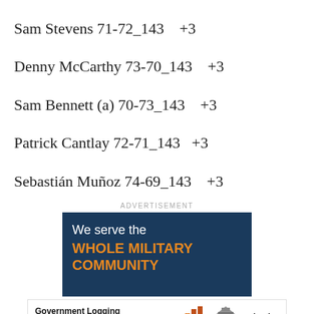Sam Stevens 71-72_143    +3
Denny McCarthy 73-70_143    +3
Sam Bennett (a) 70-73_143    +3
Patrick Cantlay 72-71_143    +3
Sebastián Muñoz 74-69_143    +3
ADVERTISEMENT
[Figure (infographic): Advertisement banner for military community with text 'We serve the WHOLE MILITARY COMMUNITY' on dark blue background]
[Figure (infographic): Advertisement banner for Government Logging Modernization Program by Splunk with bar chart graphic and US Capitol building]